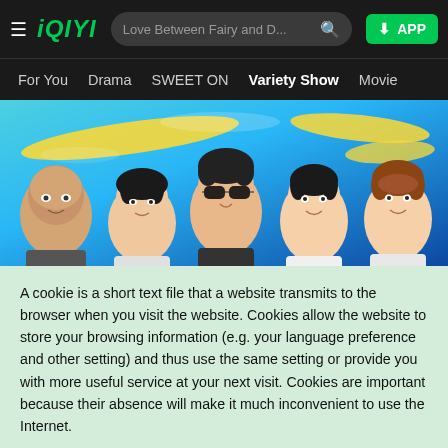iQIYI — Love Between Fairy and D... | APP
For You  Drama  SWEET ON  Variety Show  Movie
[Figure (screenshot): iQIYI variety show banner with blue background, yellow brush strokes, and five male celebrities' faces along the bottom]
A cookie is a short text file that a website transmits to the browser when you visit the website. Cookies allow the website to store your browsing information (e.g. your language preference and other setting) and thus use the same setting or provide you with more useful service at your next visit. Cookies are important because their absence will make it much inconvenient to use the Internet.
Accept all cookies
Cookie setting